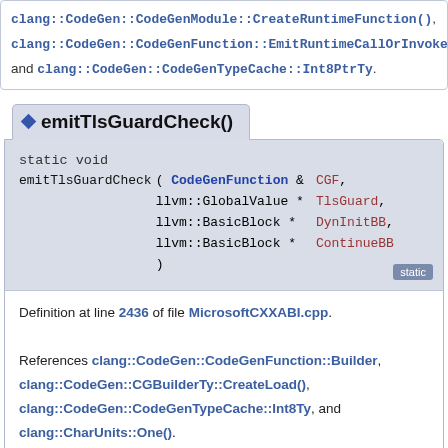clang::CodeGen::CodeGenModule::CreateRuntimeFunction(), clang::CodeGen::CodeGenFunction::EmitRuntimeCallOrInvoke( and clang::CodeGen::CodeGenTypeCache::Int8PtrTy.
emitTlsGuardCheck()
static void emitTlsGuardCheck ( CodeGenFunction & CGF, llvm::GlobalValue * TlsGuard, llvm::BasicBlock * DynInitBB, llvm::BasicBlock * ContinueBB )
Definition at line 2436 of file MicrosoftCXXABI.cpp.
References clang::CodeGen::CodeGenFunction::Builder, clang::CodeGen::CGBuilderTy::CreateLoad(), clang::CodeGen::CodeGenTypeCache::Int8Ty, and clang::CharUnits::One().